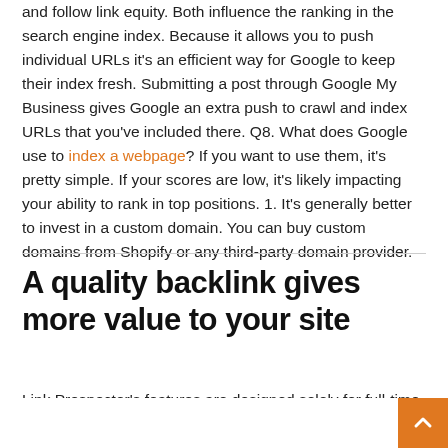and follow link equity. Both influence the ranking in the search engine index. Because it allows you to push individual URLs it's an efficient way for Google to keep their index fresh. Submitting a post through Google My Business gives Google an extra push to crawl and index URLs that you've included there. Q8. What does Google use to index a webpage? If you want to use them, it's pretty simple. If your scores are low, it's likely impacting your ability to rank in top positions. 1. It's generally better to invest in a custom domain. You can buy custom domains from Shopify or any third-party domain provider.
A quality backlink gives more value to your site
Link Prospector's features are designed solely for full-time link builders and SEO agencies. As an SEO you should trust on what you eyes see not what these tools show. On our